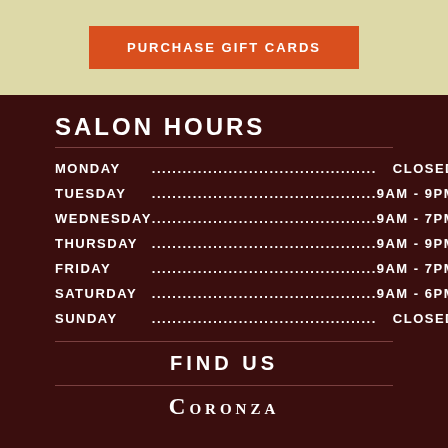[Figure (other): Orange 'PURCHASE GIFT CARDS' button on beige/tan background]
SALON HOURS
| Day | Hours |
| --- | --- |
| MONDAY | CLOSED |
| TUESDAY | 9AM - 9PM |
| WEDNESDAY | 9AM - 7PM |
| THURSDAY | 9AM - 9PM |
| FRIDAY | 9AM - 7PM |
| SATURDAY | 9AM - 6PM |
| SUNDAY | CLOSED |
FIND US
[Figure (logo): Coronza salon logo in white serif text on dark brown background]